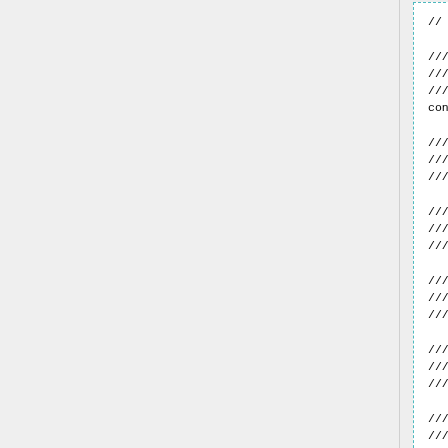[Figure (screenshot): Code block in a dashed border box showing C++ header file declarations including Member Variables, Private Operators, Private Operations, Private Access, Private Inquiry, and Un accessible methods sections with ///@ doxygen comment markers. const Poisson2D mPoisson2D declaration with bold formatting. Content is clipped on the right.]
And, finally, we have to declare the assignment operator and constructor method (remember to close the namespace definition and #endif label if you had not done it before):
[Figure (screenshot): Code block in a dashed border box showing C++ assignment operator comment and KratosR1PoissonApplication& declaration (in bold). Content is clipped on the right.]